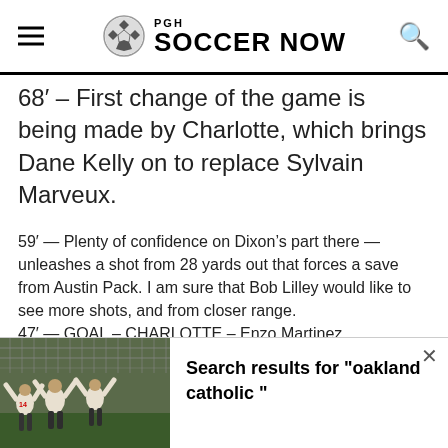PGH SOCCER NOW
68′ – First change of the game is being made by Charlotte, which brings Dane Kelly on to replace Sylvain Marveux.
59′ — Plenty of confidence on Dixon's part there — unleashes a shot from 28 yards out that forces a save from Austin Pack. I am sure that Bob Lilley would like to see more shots, and from closer range.
47′ — GOAL – CHARLOTTE – Enzo Martinez
[Figure (photo): Soccer players celebrating with arms raised on a field]
Search results for "oakland catholic "